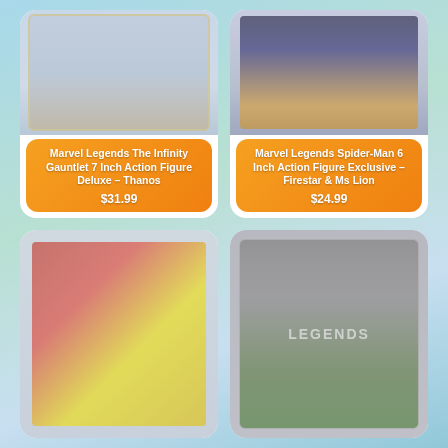[Figure (photo): Marvel Legends The Infinity Gauntlet action figure packaging - Thanos]
Marvel Legends The Infinity Gauntlet 7 Inch Action Figure Deluxe – Thanos
$31.99
[Figure (photo): Marvel Legends Spider-Man 6 Inch Action Figure Exclusive - Firestar & Ms Lion packaging]
Marvel Legends Spider-Man 6 Inch Action Figure Exclusive – Firestar & Ms Lion
$24.99
[Figure (photo): Spider-Man action figure packaging with red and yellow comic art]
[Figure (photo): Marvel Legends action figure packaging showing LEGENDS text]